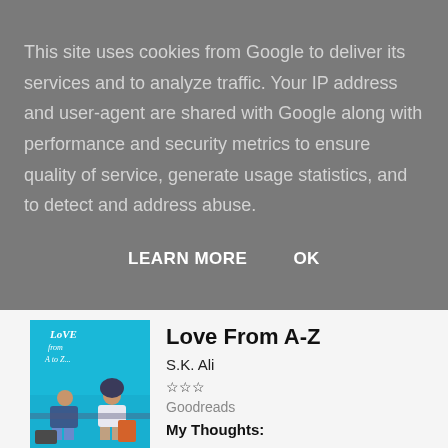This site uses cookies from Google to deliver its services and to analyze traffic. Your IP address and user-agent are shared with Google along with performance and security metrics to ensure quality of service, generate usage statistics, and to detect and address abuse.
LEARN MORE   OK
[Figure (photo): Book cover of 'Love From A-Z' by S.K. Ali showing two young people sitting in what appears to be an airport waiting area against a bright blue background]
Love From A-Z
S.K. Ali
☆☆☆
Goodreads
My Thoughts: